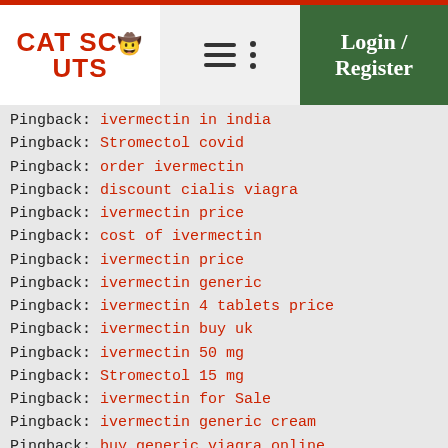CAT SCOUTS | menu | Login / Register
Pingback: ivermectin in india
Pingback: Stromectol covid
Pingback: order ivermectin
Pingback: discount cialis viagra
Pingback: ivermectin price
Pingback: cost of ivermectin
Pingback: ivermectin price
Pingback: ivermectin generic
Pingback: ivermectin 4 tablets price
Pingback: ivermectin buy uk
Pingback: ivermectin 50 mg
Pingback: Stromectol 15 mg
Pingback: ivermectin for Sale
Pingback: ivermectin generic cream
Pingback: buy generic viagra online